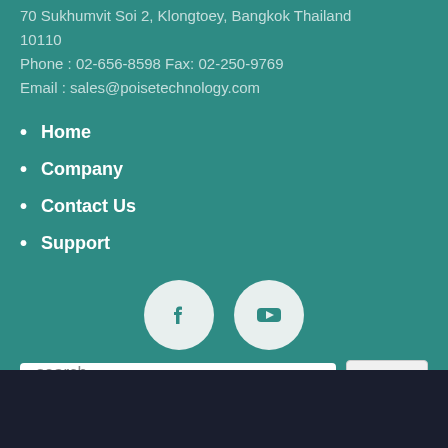70 Sukhumvit Soi 2, Klongtoey, Bangkok Thailand 10110
Phone : 02-656-8598 Fax: 02-250-9769
Email : sales@poisetechnology.com
Home
Company
Contact Us
Support
[Figure (other): Facebook and YouTube social media icons in circular badges]
search  Go